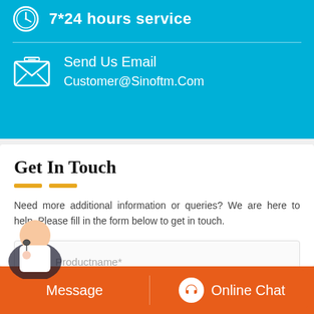7*24 hours service
Send Us Email
Customer@Sinoftm.Com
Get In Touch
Need more additional information or queries? We are here to help. Please fill in the form below to get in touch.
Productname*
Message
Online Chat